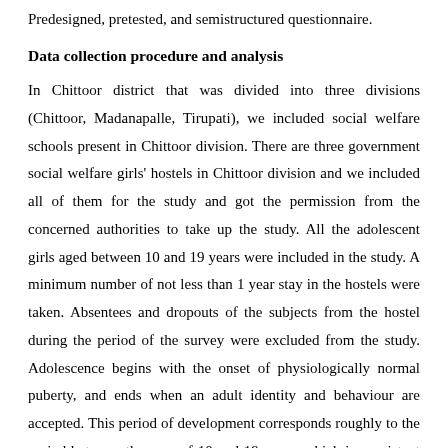Predesigned, pretested, and semistructured questionnaire.
Data collection procedure and analysis
In Chittoor district that was divided into three divisions (Chittoor, Madanapalle, Tirupati), we included social welfare schools present in Chittoor division. There are three government social welfare girls' hostels in Chittoor division and we included all of them for the study and got the permission from the concerned authorities to take up the study. All the adolescent girls aged between 10 and 19 years were included in the study. A minimum number of not less than 1 year stay in the hostels were taken. Absentees and dropouts of the subjects from the hostel during the period of the survey were excluded from the study. Adolescence begins with the onset of physiologically normal puberty, and ends when an adult identity and behaviour are accepted. This period of development corresponds roughly to the period between the ages of 10 and 19 years, which is consistent with the World Health Organization's definition of adolescence.[6] Early adolescence might be broadly considered to stretch between the ages of 10 and 14 years. Late adolescence encompasses the latter part of the teenage years, broadly between the ages of 15 and 19 years. The study was started after obtaining the clearance from the institutional ethical committee. All the students between 10 and 19 years of